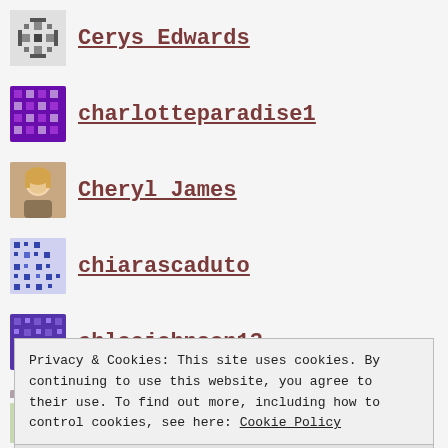Cerys Edwards
charlotteparadise1
Cheryl James
chiarascaduto
chloejohnson13
Chloe Wade
Charlotte Brennan
daisygazzard
DaisyGWilliamson
Privacy & Cookies: This site uses cookies. By continuing to use this website, you agree to their use. To find out more, including how to control cookies, see here: Cookie Policy
Close and accept
EmrE...